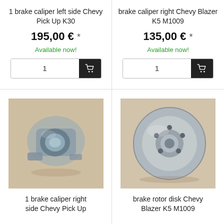1 brake caliper left side Chevy Pick Up K30
195,00 € *
Available now!
brake caliper right Chevy Blazer K5 M1009
135,00 € *
Available now!
[Figure (photo): Brake caliper left side metal part on cardboard background]
1 brake caliper right side Chevy Pick Up
[Figure (photo): Brake rotor disk on cardboard background]
brake rotor disk Chevy Blazer K5 M1009